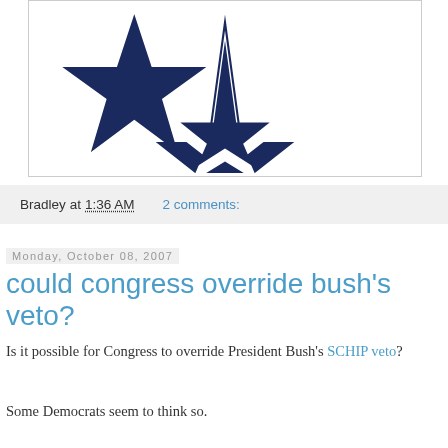[Figure (logo): Dallas Cowboys star logo — large navy blue five-pointed star with white outline border on white background]
Bradley at 1:36 AM   2 comments:
Monday, October 08, 2007
could congress override bush's veto?
Is it possible for Congress to override President Bush's SCHIP veto?
Some Democrats seem to think so.